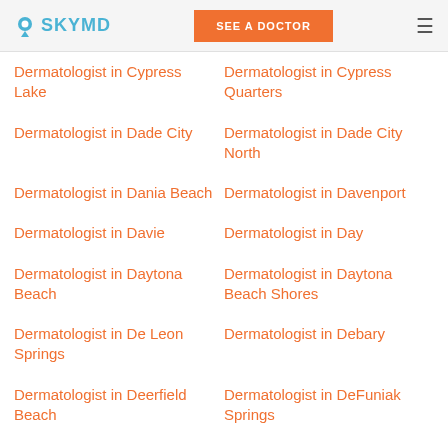SKYMD | SEE A DOCTOR
Dermatologist in Cypress Lake
Dermatologist in Cypress Quarters
Dermatologist in Dade City
Dermatologist in Dade City North
Dermatologist in Dania Beach
Dermatologist in Davenport
Dermatologist in Davie
Dermatologist in Day
Dermatologist in Daytona Beach
Dermatologist in Daytona Beach Shores
Dermatologist in De Leon Springs
Dermatologist in Debary
Dermatologist in Deerfield Beach
Dermatologist in DeFuniak Springs
Dermatologist in DeLand
Dermatologist in DeLand